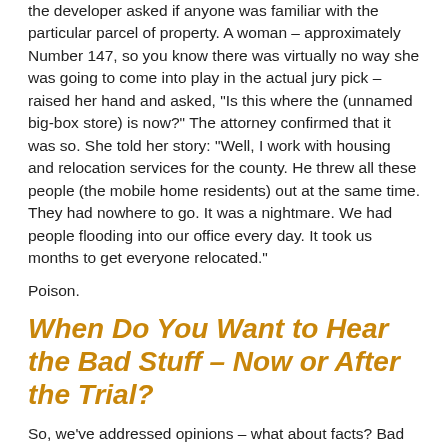the developer asked if anyone was familiar with the particular parcel of property. A woman – approximately Number 147, so you know there was virtually no way she was going to come into play in the actual jury pick – raised her hand and asked, "Is this where the (unnamed big-box store) is now?" The attorney confirmed that it was so. She told her story: "Well, I work with housing and relocation services for the county. He threw all these people (the mobile home residents) out at the same time. They had nowhere to go. It was a nightmare. We had people flooding into our office every day. It took us months to get everyone relocated."
Poison.
When Do You Want to Hear the Bad Stuff – Now or After the Trial?
So, we've addressed opinions – what about facts? Bad facts? A lot of attorneys are reluctant to bring up the bad stuff about their client ("Our company was investigated by the Feds about this same issue ten years ago." "My client had back surgery two years before this crash.") during voir dire, for fear of